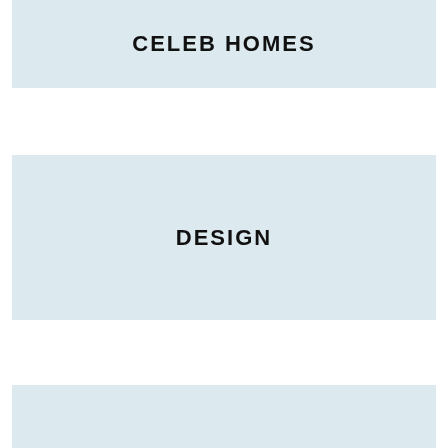CELEB HOMES
DESIGN
CONSTRUCTION
TRAVEL